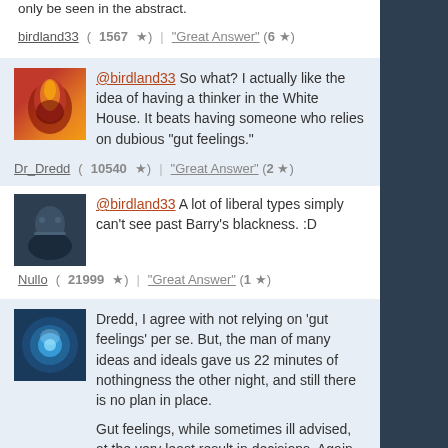only be seen in the abstract.
birdland33 (1567 ★) | "Great Answer" (6 ★)
@birdland33 So what? I actually like the idea of having a thinker in the White House. It beats having someone who relies on dubious "gut feelings."
Dr_Dredd (10540 ★) | "Great Answer" (2 ★)
@birdland33 A lot of liberal types simply can't see past Barry's blackness. :D
Nullo (21999 ★) | "Great Answer" (1 ★)
Dredd, I agree with not relying on 'gut feelings' per se. But, the man of many ideas and ideals gave us 22 minutes of nothingness the other night, and still there is no plan in place.

Gut feelings, while sometimes ill advised, at the very least result in decisions. Again, being decisive may not be the right course of action always, but you